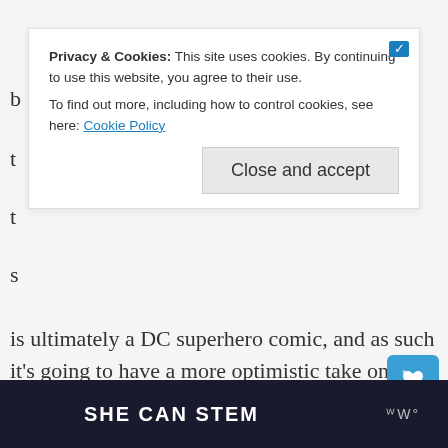[Figure (screenshot): Cookie consent banner overlay with text about privacy and cookies, a 'Close and accept' button, and a blue icon in the top right corner.]
is ultimately a DC superhero comic, and as such it's going to have a more optimistic take on the genre even amid Russell's usual scorching satire.
[Figure (other): Floating action button with heart icon (teal/blue square) and share button (circle with share icon)]
[Figure (other): Bottom dark banner with 'SHE CAN STEM' text and a logo on the right]